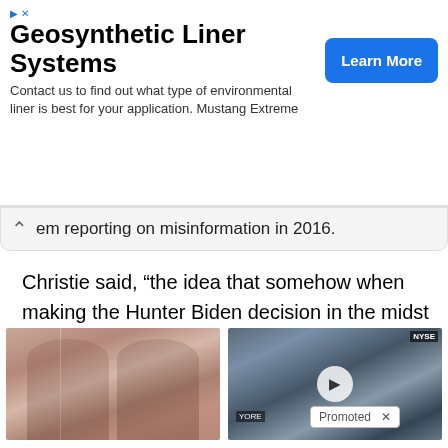[Figure (screenshot): Advertisement banner for Geosynthetc Liner Systems with a 'Learn More' button]
em reporting on misinformation in 2016.
Christie said, “the idea that somehow when making the Hunter Biden decision in the midst of an election campaign, you’re saying oh we have to be careful about Russian disinformation, but all through 2016, 2017 w hat
[Figure (photo): Before and after weight loss photos showing two women from behind]
How To Lose 40.5 Lbs In A Month (Eat This Once Every Day)
17,292
[Figure (screenshot): Video thumbnail showing a man at a NYSE desk with a play button overlay]
Biden Probably Wants This Video Destroyed — US Dollar On Path Towards Replacement?
34,183